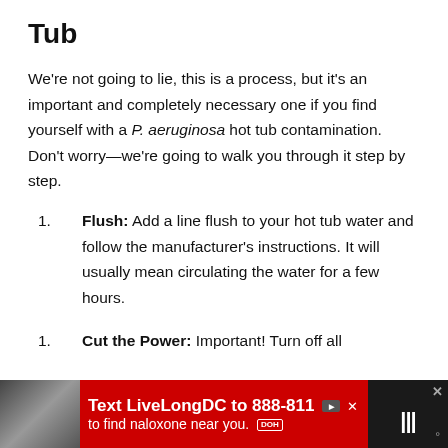Tub
We're not going to lie, this is a process, but it's an important and completely necessary one if you find yourself with a P. aeruginosa hot tub contamination. Don't worry—we're going to walk you through it step by step.
Flush: Add a line flush to your hot tub water and follow the manufacturer's instructions. It will usually mean circulating the water for a few hours.
Cut the Power: Important! Turn off all
[Figure (other): Advertisement banner: red background with photo of person, text 'Text LiveLongDC to 888-811 to find naloxone near you.' with DOH logo and close button.]